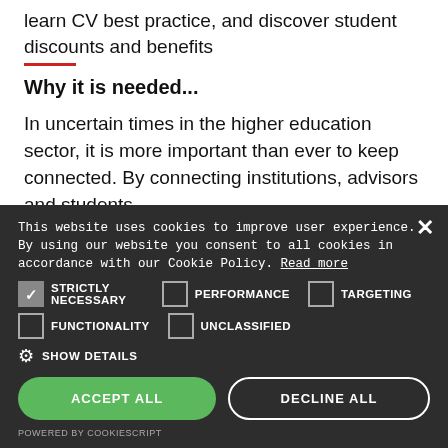learn CV best practice, and discover student discounts and benefits
Why it is needed...
In uncertain times in the higher education sector, it is more important than ever to keep connected. By connecting institutions, advisors and students
This website uses cookies to improve user experience. By using our website you consent to all cookies in accordance with our Cookie Policy. Read more
STRICTLY NECESSARY | PERFORMANCE | TARGETING | FUNCTIONALITY | UNCLASSIFIED
SHOW DETAILS
ACCEPT ALL
DECLINE ALL
POWERED BY COOKIESCRIPT